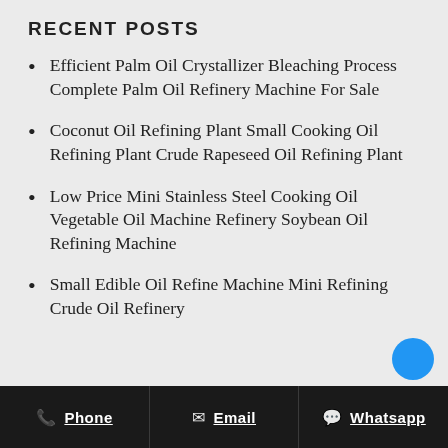RECENT POSTS
Efficient Palm Oil Crystallizer Bleaching Process Complete Palm Oil Refinery Machine For Sale
Coconut Oil Refining Plant Small Cooking Oil Refining Plant Crude Rapeseed Oil Refining Plant
Low Price Mini Stainless Steel Cooking Oil Vegetable Oil Machine Refinery Soybean Oil Refining Machine
Small Edible Oil Refine Machine Mini Refining Crude Oil Refinery
Phone  Email  Whatsapp